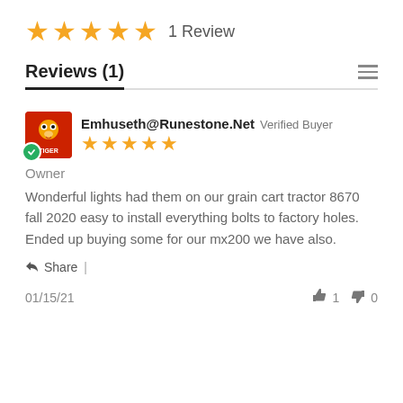[Figure (other): 5 gold star rating with '1 Review' text]
Reviews (1)
[Figure (other): Reviewer avatar logo with verified buyer checkmark badge and 5 gold stars]
Emhuseth@Runestone.Net  Verified Buyer
Owner
Wonderful lights had them on our grain cart tractor 8670 fall 2020 easy to install everything bolts to factory holes. Ended up buying some for our mx200 we have also.
Share  |
01/15/21  👍 1  👎 0